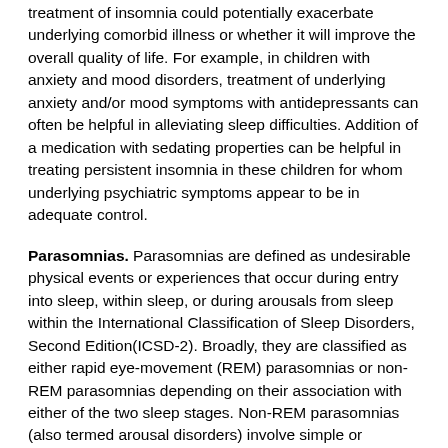treatment of insomnia could potentially exacerbate underlying comorbid illness or whether it will improve the overall quality of life. For example, in children with anxiety and mood disorders, treatment of underlying anxiety and/or mood symptoms with antidepressants can often be helpful in alleviating sleep difficulties. Addition of a medication with sedating properties can be helpful in treating persistent insomnia in these children for whom underlying psychiatric symptoms appear to be in adequate control.
Parasomnias. Parasomnias are defined as undesirable physical events or experiences that occur during entry into sleep, within sleep, or during arousals from sleep within the International Classification of Sleep Disorders, Second Edition(ICSD-2). Broadly, they are classified as either rapid eye-movement (REM) parasomnias or non-REM parasomnias depending on their association with either of the two sleep stages. Non-REM parasomnias (also termed arousal disorders) involve simple or complex behaviors as a consequence of arousal from slow-wave sleep, usually in the first half of the night. They are associated with mental confusion and amnesia to the event, and a positive family history can often be elicited. Confusional arousals, night-terrors, and sleep walking (somnambulism) are considered to be part of non-REM parasomnias.
Confusional arousals tend to occur immediately after sleep-onset or early mornings and are associated with a transient